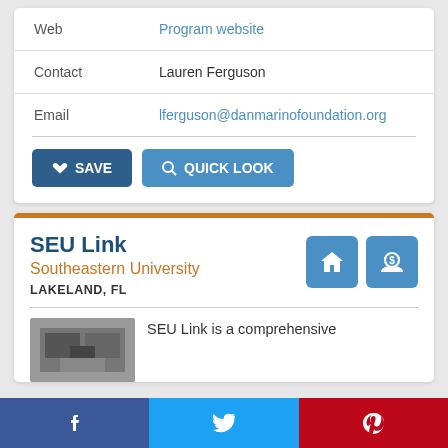| Field | Value |
| --- | --- |
| Web | Program website |
| Contact | Lauren Ferguson |
| Email | lferguson@danmarinofoundation.org |
SAVE | QUICK LOOK
SEU Link
Southeastern University
LAKELAND, FL
SEU Link is a comprehensive
[Figure (photo): Photo of a building interior]
Facebook | Twitter | Pinterest